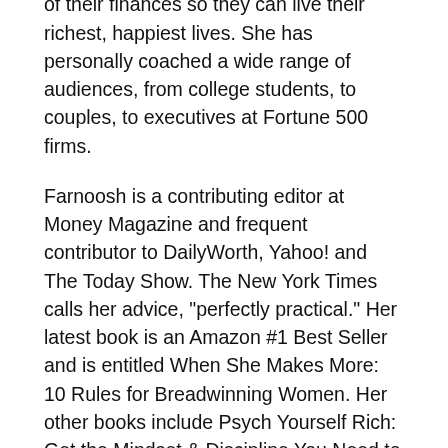Her mission is to help people take control of their finances so they can live their richest, happiest lives. She has personally coached a wide range of audiences, from college students, to couples, to executives at Fortune 500 firms.
Farnoosh is a contributing editor at Money Magazine and frequent contributor to DailyWorth, Yahoo! and The Today Show. The New York Times calls her advice, "perfectly practical." Her latest book is an Amazon #1 Best Seller and is entitled When She Makes More: 10 Rules for Breadwinning Women. Her other books include Psych Yourself Rich: Get the Mindset & Discipline You Need to Build Your Financial Life, and You're So Money – Live Rich Even When You're Not.
In print, her work and advice has been featured in